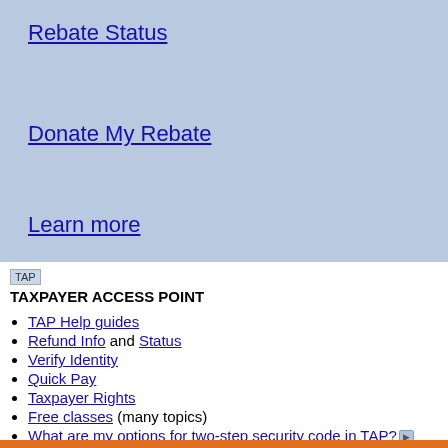Rebate Status
Donate My Rebate
Learn more
[Figure (logo): TAP logo image placeholder]
TAXPAYER ACCESS POINT
TAP Help guides
Refund Info and Status
Verify Identity
Quick Pay
Taxpayer Rights
Free classes (many topics)
What are my options for two-step security code in TAP? [video]
Payment Plans for Idaho Income Tax [video]
Managing your Idaho taxes with TAP [video]